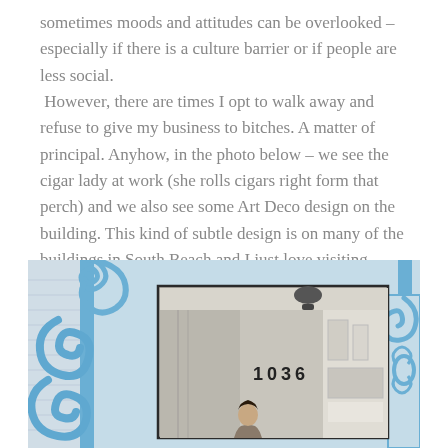sometimes moods and attitudes can be overlooked – especially if there is a culture barrier or if people are less social. However, there are times I opt to walk away and refuse to give my business to bitches. A matter of principal. Anyhow, in the photo below – we see the cigar lady at work (she rolls cigars right form that perch) and we also see some Art Deco design on the building. This kind of subtle design is on many of the buildings in South Beach and I just love visiting there.
[Figure (photo): A photo of an Art Deco building in South Beach showing blue decorative scrollwork on the left side and a smaller inset photo showing the interior/entrance of the building at address 1036, with a person (cigar lady) visible at the bottom.]